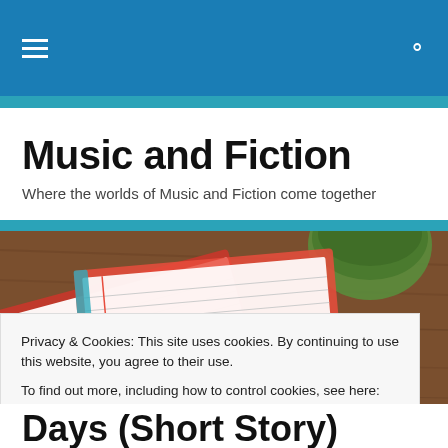Music and Fiction — site navigation bar
Music and Fiction
Where the worlds of Music and Fiction come together
[Figure (photo): A photograph of open notebooks with red covers and lined pages, a pen, and a green cup on a wooden surface]
Privacy & Cookies: This site uses cookies. By continuing to use this website, you agree to their use.
To find out more, including how to control cookies, see here: Cookie Policy
Days (Short Story)